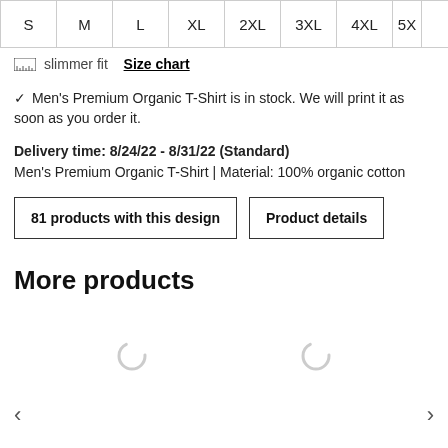| S | M | L | XL | 2XL | 3XL | 4XL | 5X… |
| --- | --- | --- | --- | --- | --- | --- | --- |
|  |
slimmer fit  Size chart
✓ Men's Premium Organic T-Shirt is in stock. We will print it as soon as you order it.
Delivery time: 8/24/22 - 8/31/22 (Standard)
Men's Premium Organic T-Shirt | Material: 100% organic cotton
81 products with this design
Product details
More products